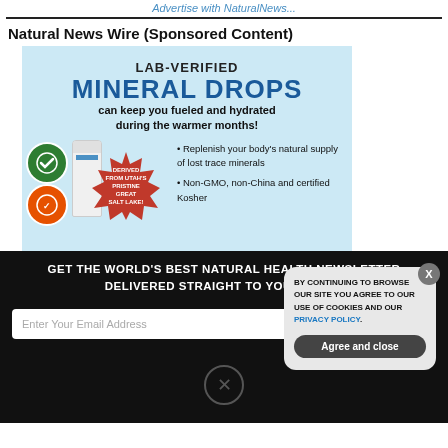Advertise with NaturalNews...
Natural News Wire (Sponsored Content)
[Figure (illustration): Advertisement for Lab-Verified Mineral Drops product. Light blue background with bold text: LAB-VERIFIED MINERAL DROPS can keep you fueled and hydrated during the warmer months! Features a white bottle, certification badges, a red starburst badge reading DERIVED FROM UTAH'S PRISTINE GREAT SALT LAKE!, and bullet points: Replenish your body's natural supply of lost trace minerals; Non-GMO, non-China and certified Kosher.]
GET THE WORLD'S BEST NATURAL HEALTH NEWSLETTER DELIVERED STRAIGHT TO YOUR INBOX
Enter Your Email Address
SUBSCRIBE
BY CONTINUING TO BROWSE OUR SITE YOU AGREE TO OUR USE OF COOKIES AND OUR PRIVACY POLICY.
Agree and close